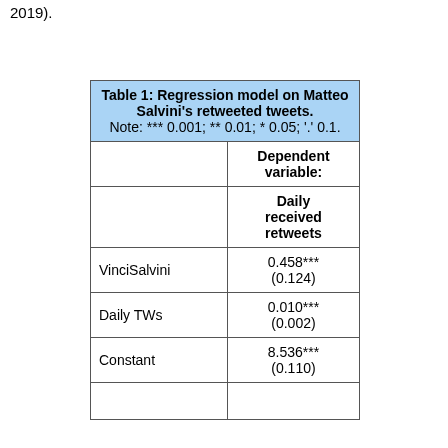2019).
|  | Dependent variable: |
| --- | --- |
|  | Daily received retweets |
| VinciSalvini | 0.458*** (0.124) |
| Daily TWs | 0.010*** (0.002) |
| Constant | 8.536*** (0.110) |
|  |  |